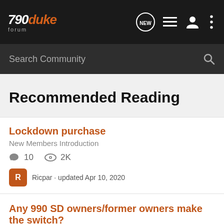790 Duke Forum — navigation bar with logo, NEW, list, person, and menu icons
Search Community
Recommended Reading
Lockdown purchase
New Members Introduction
10 replies · 2K views
Ricpar · updated Apr 10, 2020
Any 990 SD owners/former owners make the switch?
KTM 790-890 Duke Owners Check In Area
13 replies · 3K views